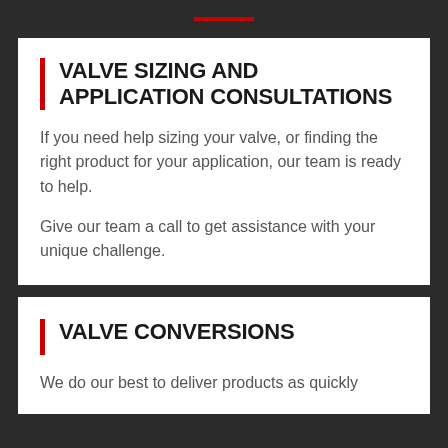VALVE SIZING AND APPLICATION CONSULTATIONS
If you need help sizing your valve, or finding the right product for your application, our team is ready to help.
Give our team a call to get assistance with your unique challenge.
VALVE CONVERSIONS
We do our best to deliver products as quickly